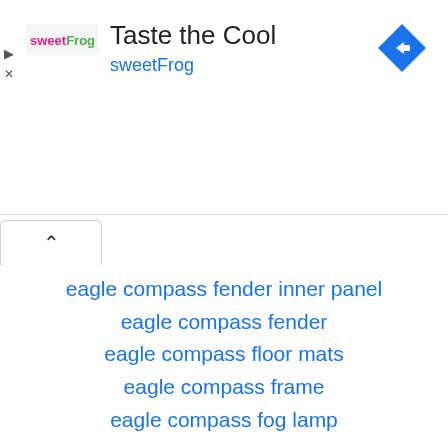[Figure (screenshot): Ad banner for sweetFrog 'Taste the Cool' with logo, navigation arrow icon, and left-side ad control icons]
[Figure (screenshot): Chevron up tab UI element]
eagle compass fender inner panel
eagle compass fender
eagle compass floor mats
eagle compass frame
eagle compass fog lamp